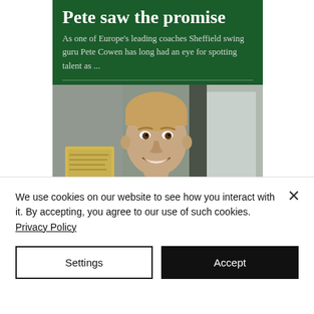[Figure (screenshot): Article card with dark green background showing title 'Pete saw the promise' and teaser text about Pete Cowen, with a photo of a young smiling man in a blue jacket below]
Pete saw the promise
As one of Europe's leading coaches Sheffield swing guru Pete Cowen has long had an eye for spotting talent as ...
We use cookies on our website to see how you interact with it. By accepting, you agree to our use of such cookies. Privacy Policy
Settings
Accept